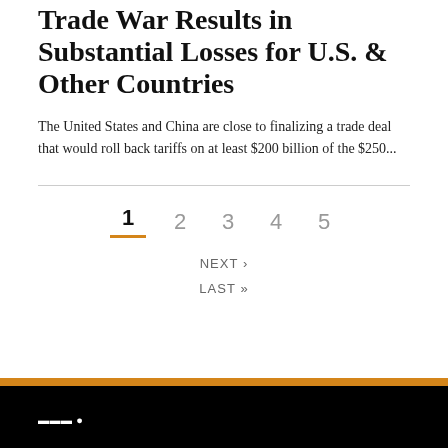Trade War Results in Substantial Losses for U.S. & Other Countries
The United States and China are close to finalizing a trade deal that would roll back tariffs on at least $200 billion of the $250...
1  2  3  4  5  NEXT ›  LAST »
[Figure (screenshot): Black footer bar with orange strip at top, containing a logo on the left side]